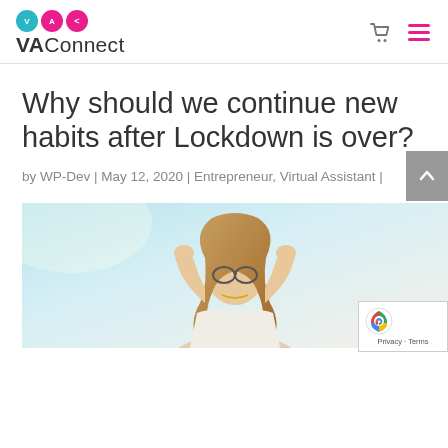VAConnect
Why should we continue new habits after Lockdown is over?
by WP-Dev | May 12, 2020 | Entrepreneur, Virtual Assistant |
[Figure (photo): A woman with glasses, hands raised behind her head, eyes closed, looking upward against a bright sky background.]